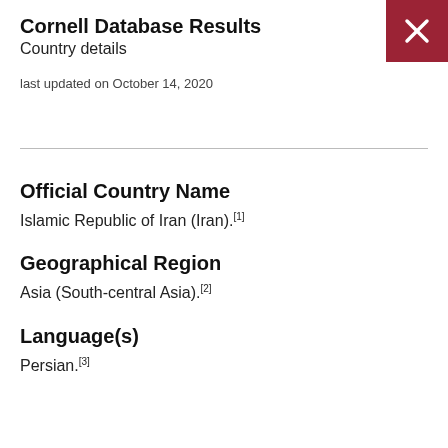Cornell Database Results
Country details
last updated on October 14, 2020
Official Country Name
Islamic Republic of Iran (Iran).[1]
Geographical Region
Asia (South-central Asia).[2]
Language(s)
Persian.[3]